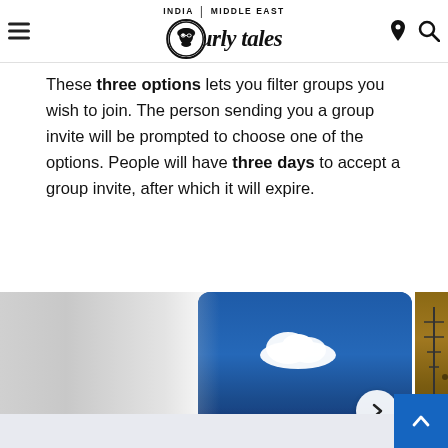Curly Tales — INDIA | MIDDLE EAST
These three options lets you filter groups you wish to join. The person sending you a group invite will be prompted to choose one of the options. People will have three days to accept a group invite, after which it will expire.
[Figure (screenshot): Image carousel showing a blue sky with a white cloud in the center image, and a wooden texture/antenna image partially visible on the right. Left side fades to gray. A right-arrow navigation button is visible.]